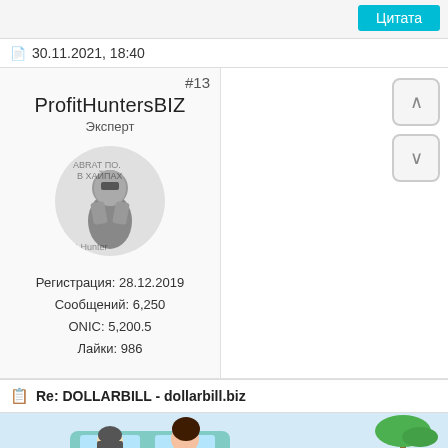Цитата
30.11.2021, 18:40
#13
ProfitHuntersBIZ
Эксперт
[Figure (illustration): Avatar image of a knight/warrior character with text overlaid]
Регистрация: 28.12.2019
Сообщений: 6,250
ONIC: 5,200.5
Лайки: 986
Re: DOLLARBILL - dollarbill.biz
[Figure (illustration): Cartoon illustration showing people in a car on a road with palm trees]